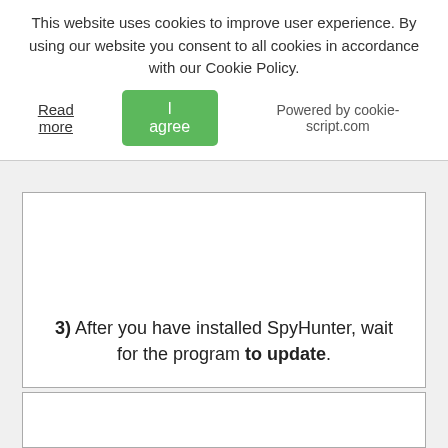This website uses cookies to improve user experience. By using our website you consent to all cookies in accordance with our Cookie Policy.
Read more
I agree
Powered by cookie-script.com
3) After you have installed SpyHunter, wait for the program to update.